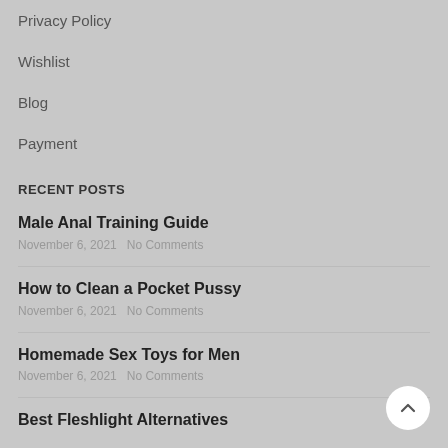Privacy Policy
Wishlist
Blog
Payment
RECENT POSTS
Male Anal Training Guide
November 6, 2021   No Comments
How to Clean a Pocket Pussy
November 6, 2021   No Comments
Homemade Sex Toys for Men
November 6, 2021   No Comments
Best Fleshlight Alternatives